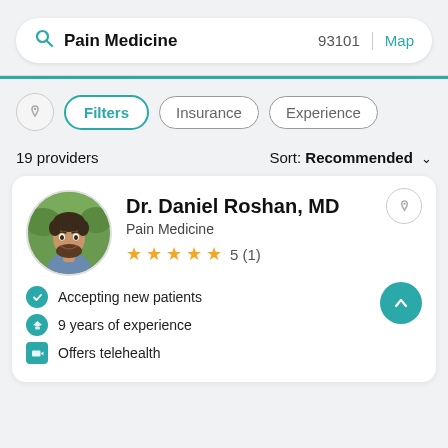Pain Medicine  93101  Map
Filters  Insurance  Experience
19 providers  Sort: Recommended
Dr. Daniel Roshan, MD
Pain Medicine
5 (1)
Accepting new patients
9 years of experience
Offers telehealth